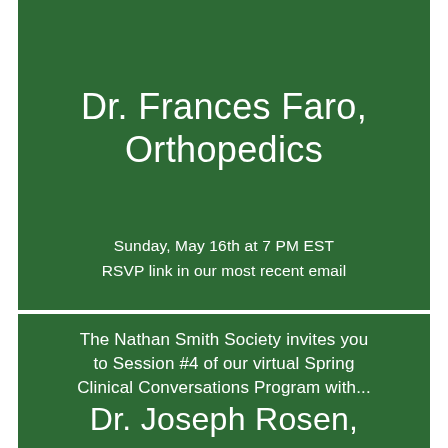Dr. Frances Faro, Orthopedics
Sunday, May 16th at 7 PM EST
RSVP link in our most recent email
The Nathan Smith Society invites you to Session #4 of our virtual Spring Clinical Conversations Program with...
Dr. Joseph Rosen,